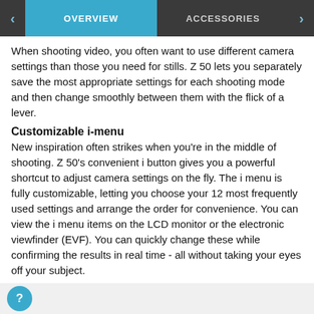OVERVIEW | ACCESSORIES
When shooting video, you often want to use different camera settings than those you need for stills. Z 50 lets you separately save the most appropriate settings for each shooting mode and then change smoothly between them with the flick of a lever.
Customizable i-menu
New inspiration often strikes when you're in the middle of shooting. Z 50's convenient i button gives you a powerful shortcut to adjust camera settings on the fly. The i menu is fully customizable, letting you choose your 12 most frequently used settings and arrange the order for convenience. You can view the i menu items on the LCD monitor or the electronic viewfinder (EVF). You can quickly change these while confirming the results in real time - all without taking your eyes off your subject.
Pop-up Flash
In scenes where your subject appears dark